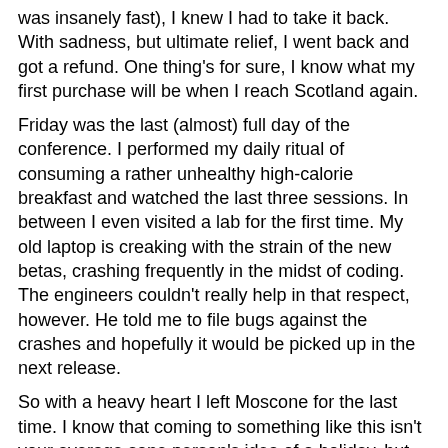was insanely fast), I knew I had to take it back. With sadness, but ultimate relief, I went back and got a refund. One thing's for sure, I know what my first purchase will be when I reach Scotland again.
Friday was the last (almost) full day of the conference. I performed my daily ritual of consuming a rather unhealthy high-calorie breakfast and watched the last three sessions. In between I even visited a lab for the first time. My old laptop is creaking with the strain of the new betas, crashing frequently in the midst of coding. The engineers couldn't really help in that respect, however. He told me to file bugs against the crashes and hopefully it would be picked up in the next release.
So with a heavy heart I left Moscone for the last time. I know that coming to something like this isn't your average sane person's idea of a holiday, but I've really enjoyed the last few days.
I spent that afternoon walking around downtown San Francisco, visiting Chinatown and having a look at the gargantuan Westfield Mall.
I've got a full Saturday left, then I fly back on the Sunday evening. Time for a wee bit of sightseeing, I think. But first, I'm away to hunt out some breakfast.